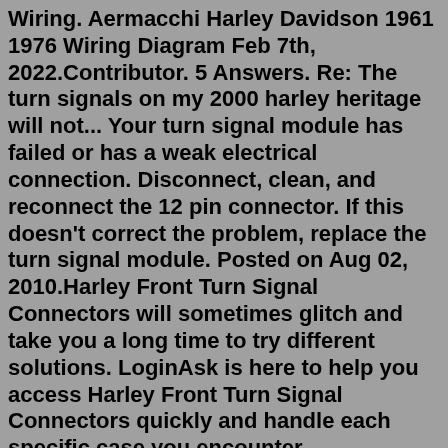Wiring. Aermacchi Harley Davidson 1961 1976 Wiring Diagram Feb 7th, 2022.Contributor. 5 Answers. Re: The turn signals on my 2000 harley heritage will not... Your turn signal module has failed or has a weak electrical connection. Disconnect, clean, and reconnect the 12 pin connector. If this doesn't correct the problem, replace the turn signal module. Posted on Aug 02, 2010.Harley Front Turn Signal Connectors will sometimes glitch and take you a long time to try different solutions. LoginAsk is here to help you access Harley Front Turn Signal Connectors quickly and handle each specific case you encounter. Furthermore, you can find the "Troubleshooting Login Issues" section which can answer your unresolved ...Dennis Kirk has been the leader in the powersports industry since 1969, so you can rest assured that we have your back when it comes to bringing you the best Switches for your Harley-Davidson. All orders over $89 receive Free shipping.Fits For 2015-2020 Harley Road Glide MS-SC15 Black Case: Features: Black & Chrome beze